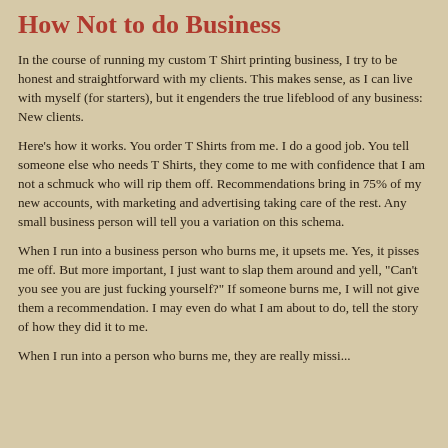How Not to do Business
In the course of running my custom T Shirt printing business, I try to be honest and straightforward with my clients. This makes sense, as I can live with myself (for starters), but it engenders the true lifeblood of any business: New clients.
Here's how it works. You order T Shirts from me. I do a good job. You tell someone else who needs T Shirts, they come to me with confidence that I am not a schmuck who will rip them off. Recommendations bring in 75% of my new accounts, with marketing and advertising taking care of the rest. Any small business person will tell you a variation on this schema.
When I run into a business person who burns me, it upsets me. Yes, it pisses me off. But more important, I just want to slap them around and yell, "Can't you see you are just fucking yourself?" If someone burns me, I will not give them a recommendation. I may even do what I am about to do, tell the story of how they did it to me.
When I run into a person who burns me, they are really missi...